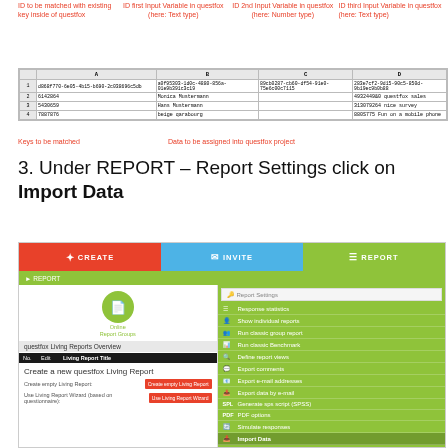ID to be matched with existing key inside of questfox
ID first Input Variable in questfox (here: Text type)
ID 2nd Input Variable in questfox (here: Number type)
ID third Input Variable in questfox (here: Text type)
[Figure (screenshot): Spreadsheet showing columns A-D with sample data rows including GUIDs and questfox data]
Keys to be matched
Data to be assigned into questfox project
3. Under REPORT – Report Settings click on Import Data
[Figure (screenshot): questfox interface showing CREATE, INVITE, REPORT navigation tabs, Report Settings dropdown menu with Import Data option highlighted, and Living Reports Overview section]